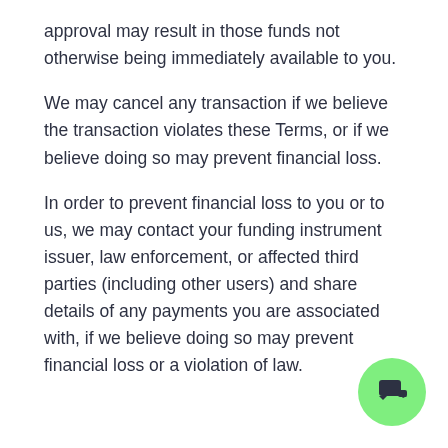approval may result in those funds not otherwise being immediately available to you.
We may cancel any transaction if we believe the transaction violates these Terms, or if we believe doing so may prevent financial loss.
In order to prevent financial loss to you or to us, we may contact your funding instrument issuer, law enforcement, or affected third parties (including other users) and share details of any payments you are associated with, if we believe doing so may prevent financial loss or a violation of law.
[Figure (illustration): Green circular chat button icon with a speech bubble symbol in dark navy color, positioned at bottom right corner]